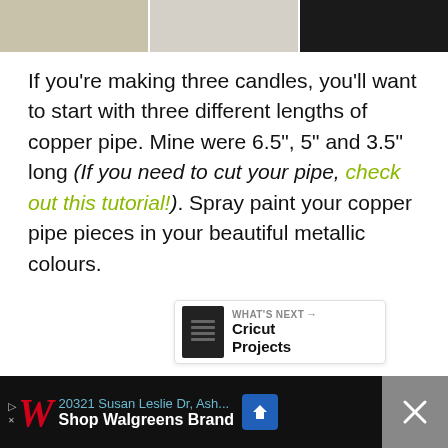[Figure (photo): Three partial photo thumbnails at top of page showing candles or cups, the rightmost on a dark background]
If you're making three candles, you'll want to start with three different lengths of copper pipe. Mine were 6.5", 5" and 3.5" long (If you need to cut your pipe, check out this tutorial!). Spray paint your copper pipe pieces in your beautiful metallic colours.
[Figure (screenshot): Floating heart/like button (teal circle) and share button (white circle with share icon), plus a 'WHAT'S NEXT' card showing Cricut Projects]
[Figure (screenshot): Advertisement bar at bottom: Walgreens ad showing '20321 Susan Leslie Dr, Ash...' and 'Shop Walgreens Brand' with navigation icon]